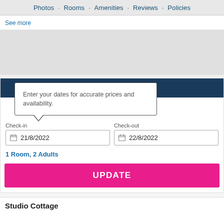Photos · Rooms · Amenities · Reviews · Policies
See more
[Figure (other): Gray map placeholder area]
Enter your dates for accurate prices and availability.
Check-in  21/8/2022
Check-out  22/8/2022
1 Room, 2 Adults
UPDATE
Studio Cottage